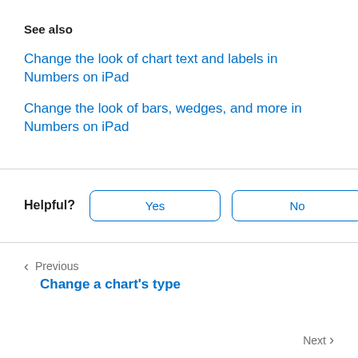See also
Change the look of chart text and labels in Numbers on iPad
Change the look of bars, wedges, and more in Numbers on iPad
Helpful? Yes No
Previous
Change a chart's type
Next